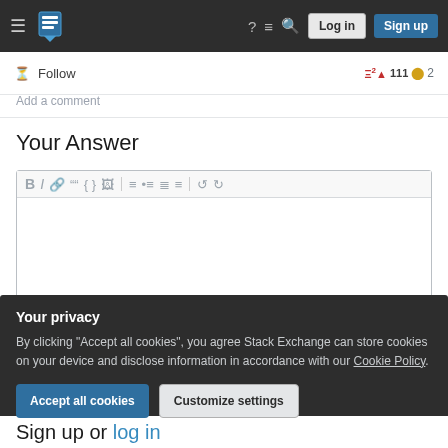≡  [Stack Exchange Logo]  ?  ≡  🔍  Log in  Sign up
Follow  Add a comment
Your Answer
[Figure (screenshot): Rich text editor toolbar with Bold, Italic, Link, Blockquote, Code, Image, Ordered List, Unordered List, Align Left, Align Justify, Undo, Redo buttons]
Your privacy
By clicking "Accept all cookies", you agree Stack Exchange can store cookies on your device and disclose information in accordance with our Cookie Policy.
Accept all cookies   Customize settings
Sign up or log in